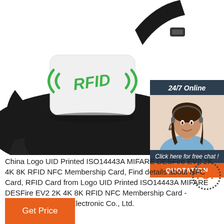[Figure (photo): RFID wristband/bracelet with white module showing green RFID logo and wireless signal icons on a black rubber band]
[Figure (photo): 24/7 Online chat widget with dark blue background, woman with headset smiling, 'Click here for free chat!' text, and orange QUOTATION button]
China Logo UID Printed ISO14443A MIFARE DESFire EV2 2K 4K 8K RFID NFC Membership Card, Find details about NFC Card, RFID Card from Logo UID Printed ISO14443A MIFARE DESFire EV2 2K 4K 8K RFID NFC Membership Card - Shanghai Huayuan Electronic Co., Ltd.
[Figure (other): TOP button with dotted circle border and orange text]
Get Price